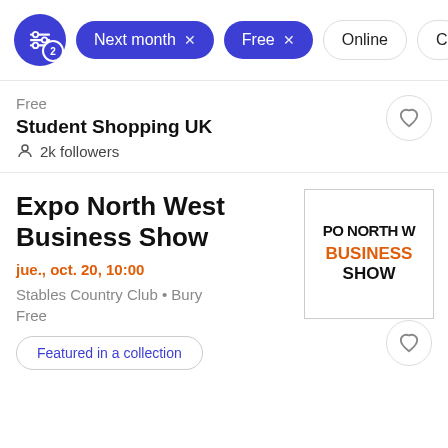[Figure (screenshot): Filter bar with active filters: Next month, Free, and inactive filters: Online, Ca...]
Free
Student Shopping UK
2k followers
Expo North West Business Show
jue., oct. 20, 10:00
Stables Country Club • Bury
Free
Featured in a collection